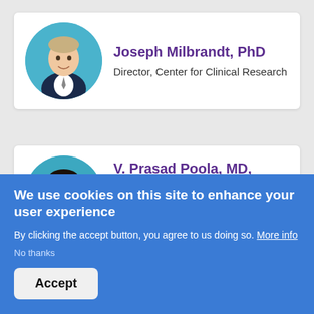[Figure (photo): Headshot of Joseph Milbrandt, PhD in circular frame with teal background]
Joseph Milbrandt, PhD
Director, Center for Clinical Research
[Figure (photo): Headshot of V. Prasad Poola, MD in circular frame with teal background]
V. Prasad Poola, MD, MBBS, FACS, FASCRS
Director of Surgical Education,
We use cookies on this site to enhance your user experience
By clicking the accept button, you agree to us doing so. More info
No thanks
Accept